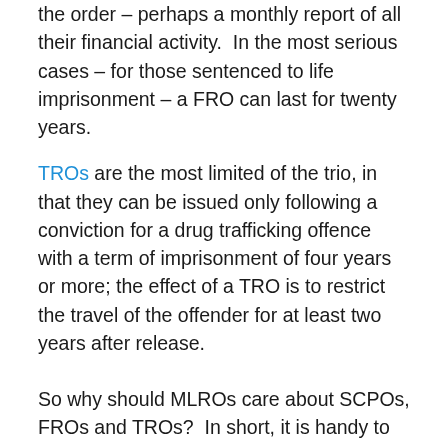the order – perhaps a monthly report of all their financial activity.  In the most serious cases – for those sentenced to life imprisonment – a FRO can last for twenty years.
TROs are the most limited of the trio, in that they can be issued only following a conviction for a drug trafficking offence with a term of imprisonment of four years or more; the effect of a TRO is to restrict the travel of the offender for at least two years after release.
So why should MLROs care about SCPOs, FROs and TROs?  In short, it is handy to know whether one of your clients is actually subject to one which seeks to curtail his financial life, so that you can be sure you're not unwittingly helping him to evade those restrictions.  It sounds like a hassle, but – although I love these orders and the balance they restore to the world (if someone commits a financial crime, you make their financial life more awkward) – there